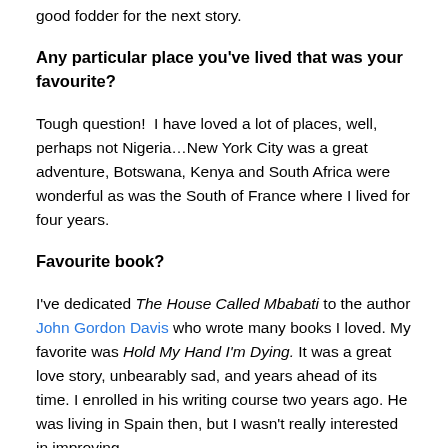good fodder for the next story.
Any particular place you've lived that was your favourite?
Tough question!  I have loved a lot of places, well, perhaps not Nigeria…New York City was a great adventure, Botswana, Kenya and South Africa were wonderful as was the South of France where I lived for four years.
Favourite book?
I've dedicated The House Called Mbabati to the author John Gordon Davis who wrote many books I loved. My favorite was Hold My Hand I'm Dying. It was a great love story, unbearably sad, and years ahead of its time. I enrolled in his writing course two years ago. He was living in Spain then, but I wasn't really interested in improving